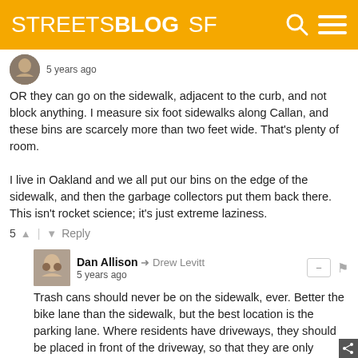STREETSBLOG SF
5 years ago
OR they can go on the sidewalk, adjacent to the curb, and not block anything. I measure six foot sidewalks along Callan, and these bins are scarcely more than two feet wide. That's plenty of room.

I live in Oakland and we all put our bins on the edge of the sidewalk, and then the garbage collectors put them back there. This isn't rocket science; it's just extreme laziness.
5  |  Reply
Dan Allison → Drew Levitt
5 years ago
Trash cans should never be on the sidewalk, ever. Better the bike lane than the sidewalk, but the best location is the parking lane. Where residents have driveways, they should be placed in front of the driveway, so that they are only blocking the owner of